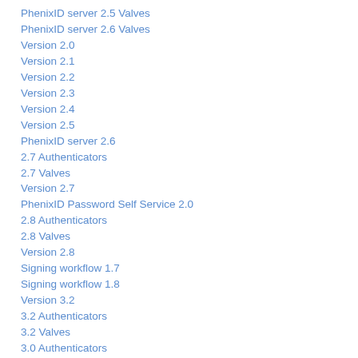PhenixID server 2.5 Valves
PhenixID server 2.6 Valves
Version 2.0
Version 2.1
Version 2.2
Version 2.3
Version 2.4
Version 2.5
PhenixID server 2.6
2.7 Authenticators
2.7 Valves
Version 2.7
PhenixID Password Self Service 2.0
2.8 Authenticators
2.8 Valves
Version 2.8
Signing workflow 1.7
Signing workflow 1.8
Version 3.2
3.2 Authenticators
3.2 Valves
3.0 Authenticators
3.0 Valves
Signing workflow 1.12
Signing workflow 1.12